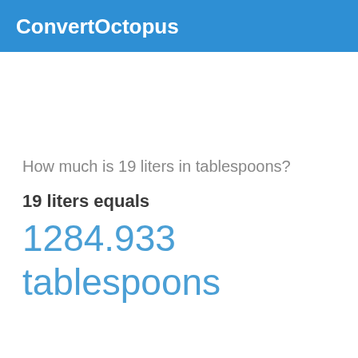ConvertOctopus
How much is 19 liters in tablespoons?
19 liters equals
1284.933 tablespoons